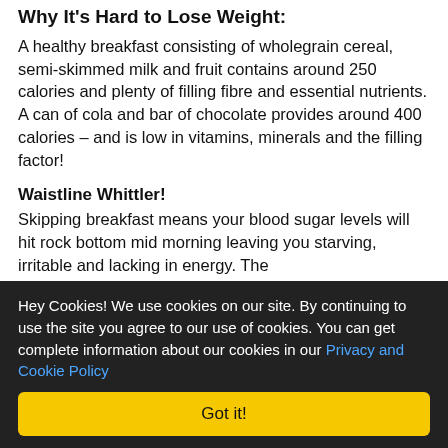Why It's Hard to Lose Weight:
A healthy breakfast consisting of wholegrain cereal, semi-skimmed milk and fruit contains around 250 calories and plenty of filling fibre and essential nutrients. A can of cola and bar of chocolate provides around 400 calories – and is low in vitamins, minerals and the filling factor!
Waistline Whittler!
Skipping breakfast means your blood sugar levels will hit rock bottom mid morning leaving you starving, irritable and lacking in energy. The
Hey Cookies! We use cookies on our site. By continuing to use the site you agree to our use of cookies. You can get complete information about our cookies in our Privacy and Cookie Policy
Got it!